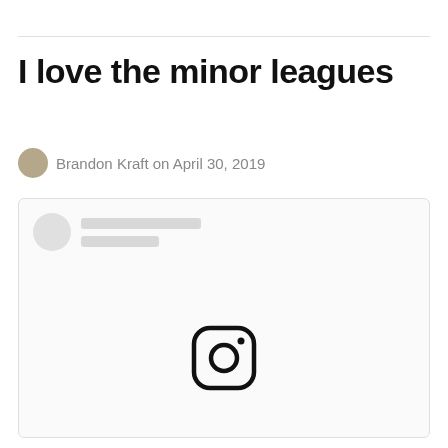I love the minor leagues
Brandon Kraft on April 30, 2019
[Figure (screenshot): Embedded Instagram post card with a circular avatar placeholder, two grey loading skeleton lines for username and handle, and a large Instagram logo icon centered in the content area of the card.]